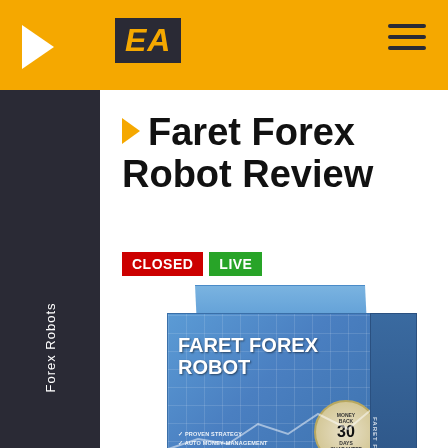EA — Faret Forex Robot Review
Faret Forex Robot Review
CLOSED LIVE
[Figure (photo): Product box image for Faret Forex Robot. Box shows 'FARET FOREX ROBOT' branding with chart graphics, Money Back 30 Days Guarantee seal, features list including Proven Strategy, Auto Money-Management, News Filter, Balance Protection, And Much More, logo, and website URL www.faretforexrobot.com]
Forex Robots